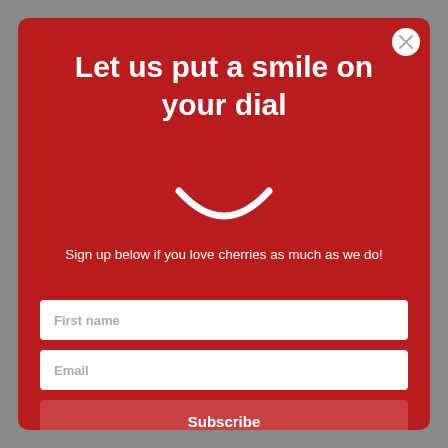Let us put a smile on your dial
[Figure (illustration): White smile/curve icon on red background]
Sign up below if you love cherries as much as we do!
First name
Email
Subscribe